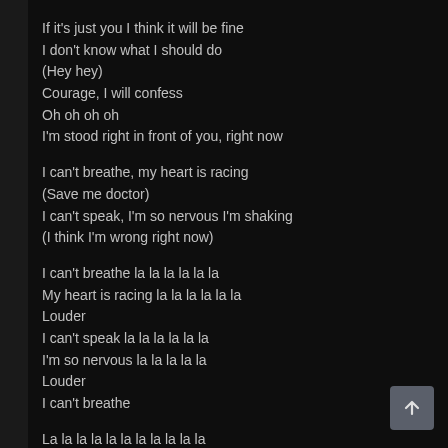If it's just you I think it will be fine
I don't know what I should do
(Hey hey)
Courage, I will confess
Oh oh oh oh
I'm stood right in front of you, right now

I can't breathe, my heart is racing
(Save me doctor)
I can't speak, I'm so nervous I'm shaking
(I think I'm wrong right now)

I can't breathe la la la la la la
My heart is racing la la la la la la
Louder
I can't speak la la la la la la
I'm so nervous la la la la la
Louder
I can't breathe

La la la la la la la la la la la